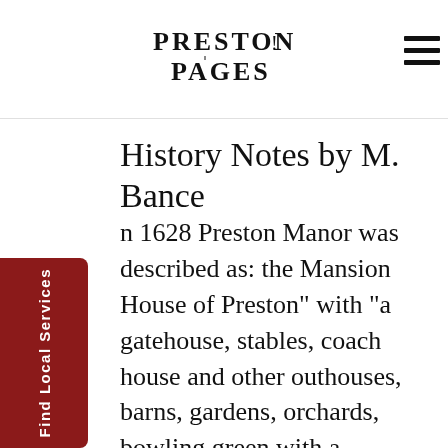Preston Pages
History Notes by M. Bance
In 1628 Preston Manor was described as: the Mansion House of Preston" with "a gatehouse, stables, coach house and other outhouses, barns, gardens, orchards, bowling green with a plantation of young elms". William Stanford bought Preston Manor and nearly 1,000 acres of land from his landlord Charles Western in 1794 for £17,000.